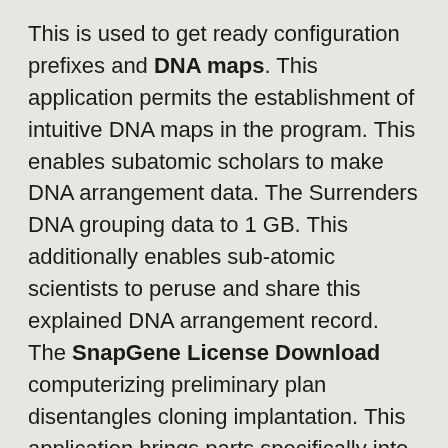This is used to get ready configuration prefixes and DNA maps. This application permits the establishment of intuitive DNA maps in the program. This enables subatomic scholars to make DNA arrangement data. The Surrenders DNA grouping data to 1 GB. This additionally enables sub-atomic scientists to peruse and share this explained DNA arrangement record. The SnapGene License Download computerizing preliminary plan disentangles cloning implantation. This application brings parts specifically into a plasmid without limitation catalysts. Most scientists utilize the Gibson meeting. This helps a couple of activities including cloning and control with it.
The assortment of polymerase chain response known as PCR. Its Full Version Crack permits the showcase of a tabular point interpretation from the application.